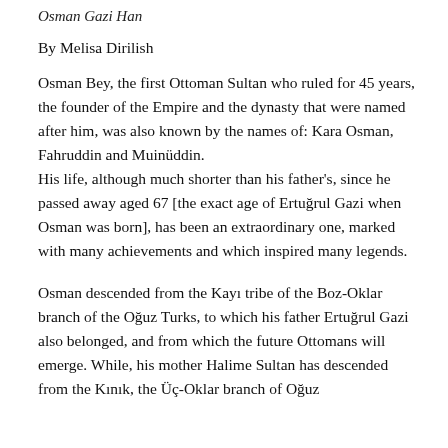Osman Gazi Han
By Melisa Dirilish
Osman Bey, the first Ottoman Sultan who ruled for 45 years, the founder of the Empire and the dynasty that were named after him, was also known by the names of: Kara Osman, Fahruddin and Muinüddin.
His life, although much shorter than his father's, since he passed away aged 67 [the exact age of Ertuğrul Gazi when Osman was born], has been an extraordinary one, marked with many achievements and which inspired many legends.
Osman descended from the Kayı tribe of the Boz-Oklar branch of the Oğuz Turks, to which his father Ertuğrul Gazi also belonged, and from which the future Ottomans will emerge. While, his mother Halime Sultan has descended from the Kınık, the Üç-Oklar branch of Oğuz